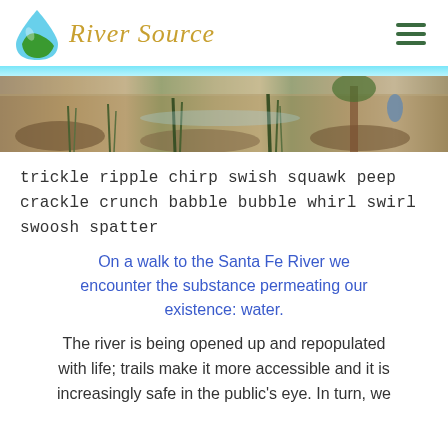River Source
[Figure (photo): Outdoor riverbank scene with sparse vegetation, dry ground, and a few young plants or shrubs; people visible in the background near water]
trickle ripple chirp swish squawk peep crackle crunch babble bubble whirl swirl swoosh spatter
On a walk to the Santa Fe River we encounter the substance permeating our existence: water.
The river is being opened up and repopulated with life; trails make it more accessible and it is increasingly safe in the public's eye. In turn, we